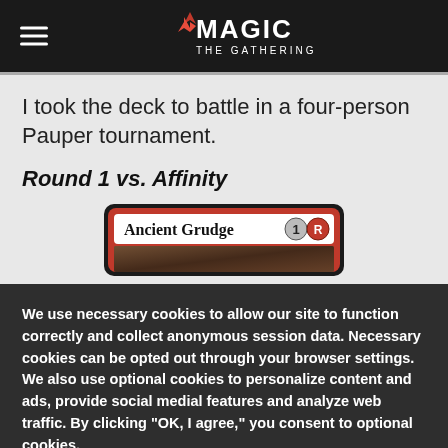Magic: The Gathering
I took the deck to battle in a four-person Pauper tournament.
Round 1 vs. Affinity
[Figure (illustration): Magic: The Gathering card 'Ancient Grudge' with mana cost 1R (generic 1 and red mana symbol), shown partially cropped]
We use necessary cookies to allow our site to function correctly and collect anonymous session data. Necessary cookies can be opted out through your browser settings. We also use optional cookies to personalize content and ads, provide social medial features and analyze web traffic. By clicking "OK, I agree," you consent to optional cookies. (Learn more about cookies.)
OK, I agree   No, thanks